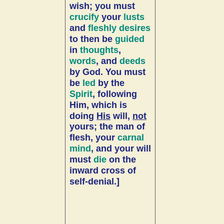wish; you must crucify your lusts and fleshly desires to then be guided in thoughts, words, and deeds by God. You must be led by the Spirit, following Him, which is doing His will, not yours; the man of flesh, your carnal mind, and your will must die on the inward cross of self-denial.]